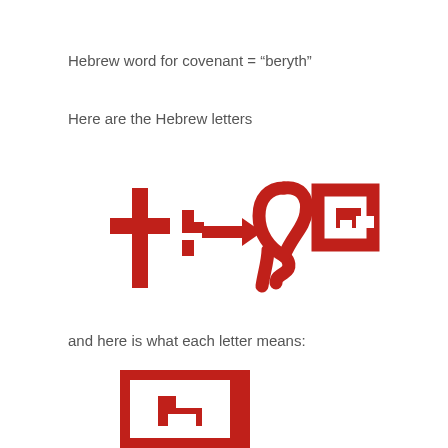Hebrew word for covenant = "beryth"
Here are the Hebrew letters
[Figure (illustration): Four ancient Hebrew letters for 'beryth' rendered in red: a cross/tav shape, a beth/house arrow shape, a resh/head shape, and a teth/basket shape]
and here is what each letter means:
[Figure (illustration): The first Hebrew letter (teth/basket shape) rendered large in red at bottom of page]